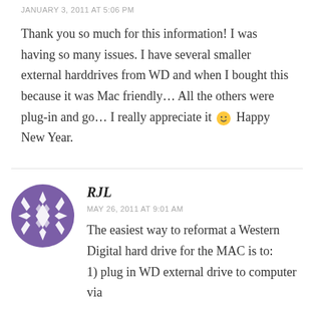JANUARY 3, 2011 AT 5:06 PM
Thank you so much for this information! I was having so many issues. I have several smaller external harddrives from WD and when I bought this because it was Mac friendly… All the others were plug-in and go… I really appreciate it 🙂 Happy New Year.
[Figure (illustration): Purple geometric/snowflake avatar icon for user RJL]
RJL
MAY 26, 2011 AT 9:01 AM
The easiest way to reformat a Western Digital hard drive for the MAC is to:
1) plug in WD external drive to computer via